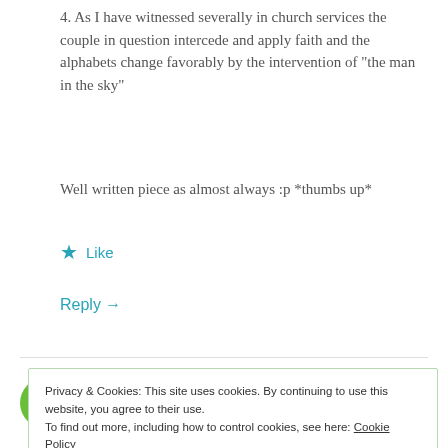4. As I have witnessed severally in church services the couple in question intercede and apply faith and the alphabets change favorably by the intervention of “the man in the sky”
Well written piece as almost always :p *thumbs up*
★ Like
Reply →
AFROSAYS
Privacy & Cookies: This site uses cookies. By continuing to use this website, you agree to their use.
To find out more, including how to control cookies, see here: Cookie Policy
Close and accept
@uberbetty writes beautifully about humanness